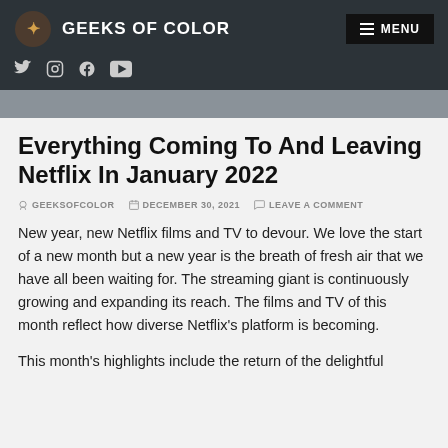GEEKS OF COLOR
Everything Coming To And Leaving Netflix In January 2022
GEEKSOFCOLOR   DECEMBER 30, 2021   LEAVE A COMMENT
New year, new Netflix films and TV to devour. We love the start of a new month but a new year is the breath of fresh air that we have all been waiting for. The streaming giant is continuously growing and expanding its reach. The films and TV of this month reflect how diverse Netflix's platform is becoming.
This month's highlights include the return of the delightful